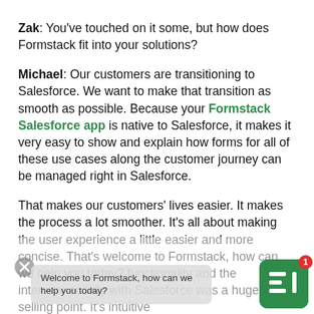Zak: You've touched on it some, but how does Formstack fit into your solutions?
Michael: Our customers are transitioning to Salesforce. We want to make that transition as smooth as possible. Because your Formstack Salesforce app is native to Salesforce, it makes it very easy to show and explain how forms for all of these use cases along the customer journey can be managed right in Salesforce.
That makes our customers' lives easier. It makes the process a lot smoother. It's all about making the user experience a little easier and more concise. That's welcome to Formstack, how can we help you today? functionality and the interconnectivity with Salesforce was a huge selling point. It's intuitive